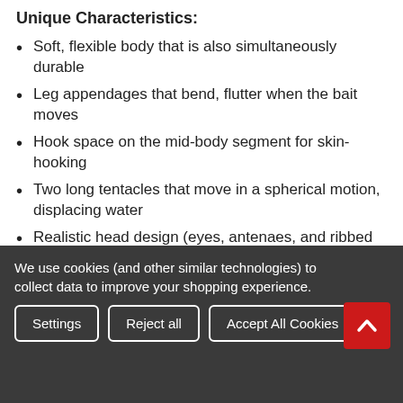Unique Characteristics:
Soft, flexible body that is also simultaneously durable
Leg appendages that bend, flutter when the bait moves
Hook space on the mid-body segment for skin-hooking
Two long tentacles that move in a spherical motion, displacing water
Realistic head design (eyes, antenaes, and ribbed texture)
Make no mistake, "The Bug" is already becoming a big bass soft bait for fishermen across the United States. Each bag is hand-poured for the freshest, high quality standards. If you need any assistance on how best to fish this
We use cookies (and other similar technologies) to collect data to improve your shopping experience.